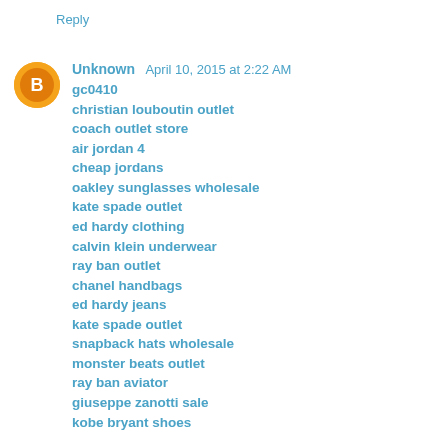Reply
Unknown  April 10, 2015 at 2:22 AM
gc0410
christian louboutin outlet
coach outlet store
air jordan 4
cheap jordans
oakley sunglasses wholesale
kate spade outlet
ed hardy clothing
calvin klein underwear
ray ban outlet
chanel handbags
ed hardy jeans
kate spade outlet
snapback hats wholesale
monster beats outlet
ray ban aviator
giuseppe zanotti sale
kobe bryant shoes